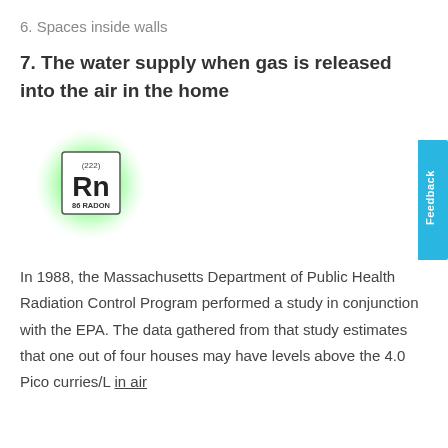6. Spaces inside walls
7. The water supply when gas is released into the air in the home
[Figure (illustration): Periodic table element tile for Radon (Rn), atomic number 86, atomic mass (222), shown with a green glowing circle background]
In 1988, the Massachusetts Department of Public Health Radiation Control Program performed a study in conjunction with the EPA. The data gathered from that study estimates that one out of four houses may have levels above the 4.0 Pico curries/L in air